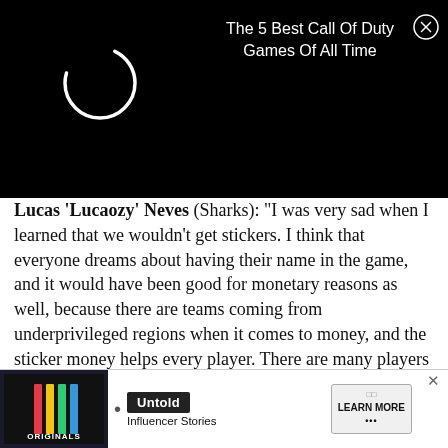[Figure (screenshot): Black advertisement banner with a spinning loading circle on the left and text 'The 5 Best Call Of Duty Games Of All Time' on the right with a close (X) button]
Lucas 'Lucaozy' Neves (Sharks): "I was very sad when I learned that we wouldn't get stickers. I think that everyone dreams about having their name in the game, and it would have been good for monetary reasons as well, because there are teams coming from underprivileged regions when it comes to money, and the sticker money helps every player. There are many players debuting at the Major and they all wanted to have a signature sticker."
Anonymous player: "In my opinion, Valve's decision was a ... players benefi... since
[Figure (screenshot): Bottom advertisement banner showing Originals logo, Untold Influencer Stories, and Learn More button with close X]